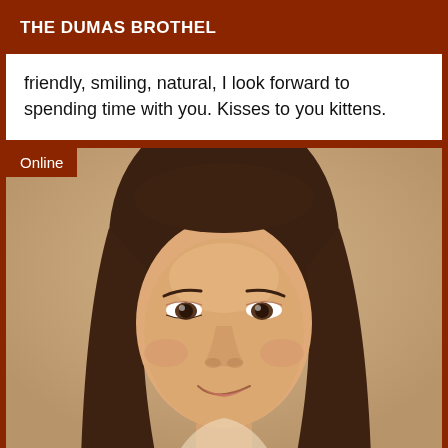THE DUMAS BROTHEL
friendly, smiling, natural, I look forward to spending time with you. Kisses to you kittens.
[Figure (photo): Portrait photo of a young woman with long straight brown hair, smiling slightly, against a beige/tan background. An 'Online' badge appears in the upper left corner of the photo.]